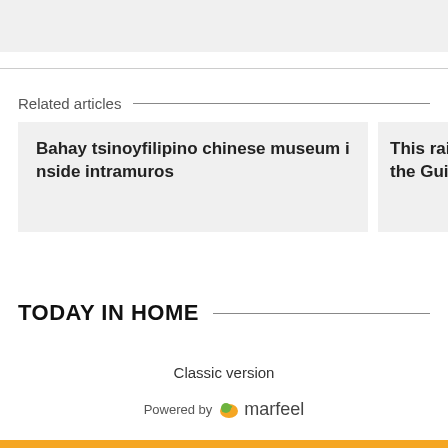[Figure (other): Gray placeholder block at top of page]
Related articles
Bahay tsinoyfilipino chinese museum inside intramuros
This rainbow b t to the Guinn
TODAY IN HOME
Classic version
Powered by marfeel